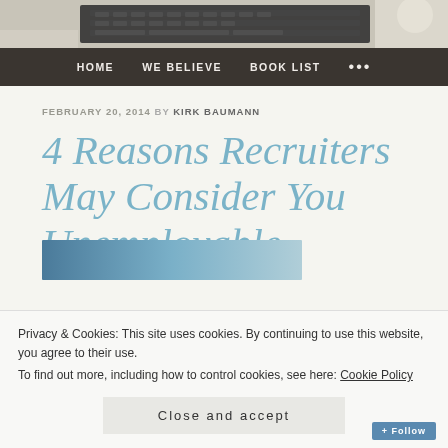[Figure (photo): Header photo showing a laptop keyboard on a desk, partially visible at top of page]
HOME   WE BELIEVE   BOOK LIST   ...
FEBRUARY 20, 2014 BY KIRK BAUMANN
4 Reasons Recruiters May Consider You Unemployable
[Figure (photo): Partial photo of a person, cut off at bottom by cookie banner]
Privacy & Cookies: This site uses cookies. By continuing to use this website, you agree to their use.
To find out more, including how to control cookies, see here: Cookie Policy
Close and accept